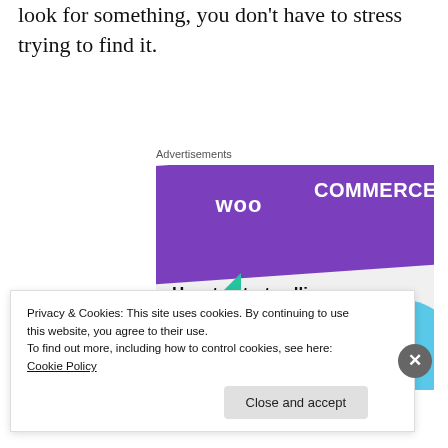look for something, you don't have to stress trying to find it.
Advertisements
[Figure (illustration): WooCommerce advertisement banner showing the WooCommerce logo on a purple background with green and blue decorative shapes, headline 'How to start selling subscriptions online' and a purple 'Start a new store' button]
Privacy & Cookies: This site uses cookies. By continuing to use this website, you agree to their use.
To find out more, including how to control cookies, see here: Cookie Policy
Close and accept